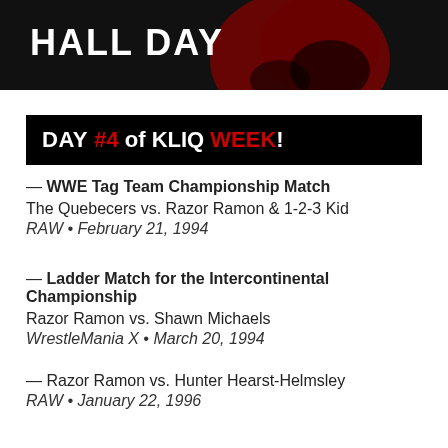[Figure (photo): Top portion of a wrestling-themed image showing text HALL DAY with a wrestler in red and black]
DAY #4 of KLIQ WEEK!
— WWE Tag Team Championship Match
The Quebecers vs. Razor Ramon & 1-2-3 Kid
RAW • February 21, 1994
— Ladder Match for the Intercontinental Championship
Razor Ramon vs. Shawn Michaels
WrestleMania X • March 20, 1994
— Razor Ramon vs. Hunter Hearst-Helmsley
RAW • January 22, 1996